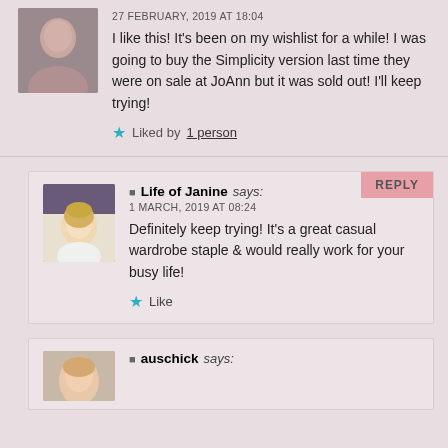27 FEBRUARY, 2019 AT 18:04
I like this! It’s been on my wishlist for a while! I was going to buy the Simplicity version last time they were on sale at JoAnn but it was sold out! I’ll keep trying!
★ Liked by 1 person
Life of Janine says:
1 MARCH, 2019 AT 08:24
Definitely keep trying! It’s a great casual wardrobe staple & would really work for your busy life!
★ Like
auschick says:
1 MARCH, 2019 AT 10:32